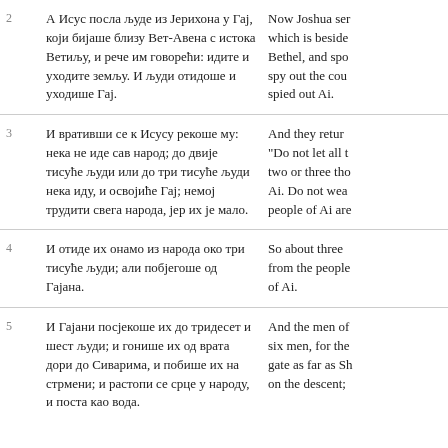| # | Serbian | English |
| --- | --- | --- |
| 2 | А Исус посла људе из Јерихона у Гај, који бијаше близу Вет-Авена с истока Ветиљу, и рече им говорећи: идите и уходите земљу. И људи отидоше и уходише Гај. | Now Joshua sent men from Jericho to Ai, which is beside Beth Aven, on the east side of Bethel, and spoke to them, saying, "Go up and spy out the country." So the men went up and spied out Ai. |
| 3 | И вративши се к Исусу рекоше му: нека не иде сав народ; до двије тисуће људи или до три тисуће људи нека иду, и освојиће Гај; немој трудити свега народа, јер их је мало. | And they returned to Joshua and said to him, "Do not let all the people go up, but let about two or three thousand men go up and attack Ai. Do not weary all the people there, for the people of Ai are few." |
| 4 | И отиде их онамо из народа око три тисуће људи; али побјегоше од Гајана. | So about three thousand men went up there from the people, but they fled before the men of Ai. |
| 5 | И Гајани посјекоше их до тридесет и шест људи; и гонише их од врата дори до Сиварима, и побише их на стрмени; и растопи се срце у народу, и поста као вода. | And the men of Ai struck down about thirty-six men, for they chased them from before the gate as far as Shebarim, and struck them down on the descent; |